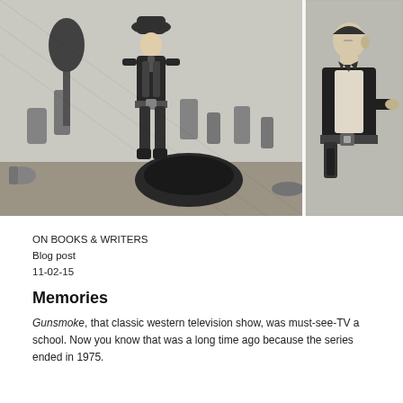[Figure (illustration): Two black-and-white comic/illustration panels side by side showing Western characters. Left panel: a cowboy figure standing in a graveyard scene with tombstones and various objects. Right panel: another figure in Western attire with a belt buckle visible.]
ON BOOKS & WRITERS
Blog post
11-02-15
Memories
Gunsmoke, that classic western television show, was must-see-TV a school. Now you know that was a long time ago because the series ended in 1975.